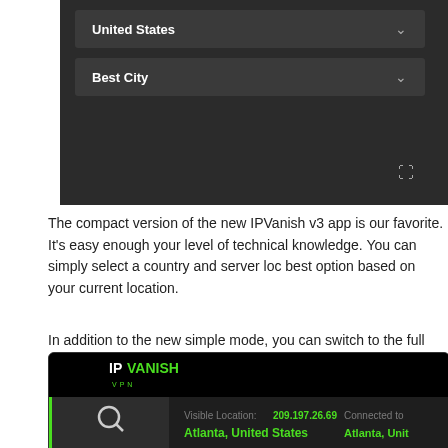[Figure (screenshot): IPVanish VPN app compact mode screenshot showing United States and Best City dropdowns with OFF toggle button, and right panel showing Atlanta, United States location, Public IP 209.107.x, Duration 00:00:14]
The compact version of the new IPVanish v3 app is our favorite. It's easy enough your level of technical knowledge. You can simply select a country and server loc best option based on your current location.
In addition to the new simple mode, you can switch to the full mode for more flexi between the two modes anytime. Any other settings you configure in the app will
[Figure (screenshot): IPVanish VPN full app mode screenshot showing sidebar with search, location, account, settings, and info icons, main area showing Visible Location 209.197.26.69 Atlanta United States, Connected to Atlanta United States, and a dark map area with green bar on right]